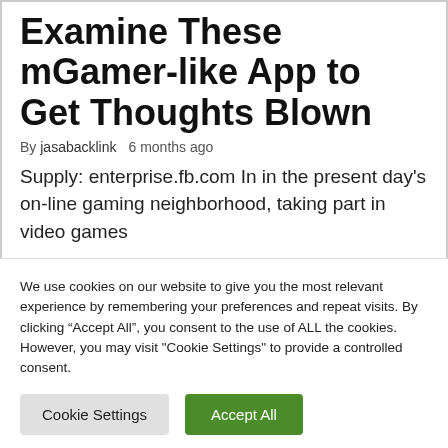Examine These mGamer-like App to Get Thoughts Blown
By jasabacklink   6 months ago
Supply: enterprise.fb.com In in the present day’s on-line gaming neighborhood, taking part in video games
We use cookies on our website to give you the most relevant experience by remembering your preferences and repeat visits. By clicking “Accept All”, you consent to the use of ALL the cookies. However, you may visit "Cookie Settings" to provide a controlled consent.